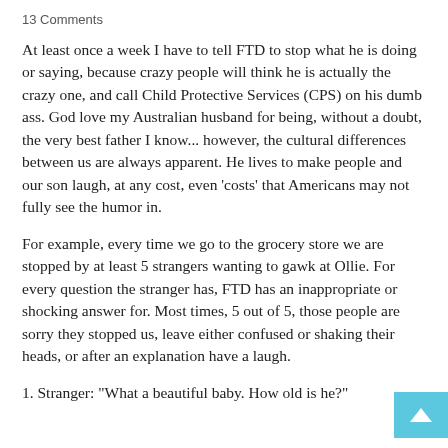13 Comments
At least once a week I have to tell FTD to stop what he is doing or saying, because crazy people will think he is actually the crazy one, and call Child Protective Services (CPS) on his dumb ass. God love my Australian husband for being, without a doubt, the very best father I know... however, the cultural differences between us are always apparent. He lives to make people and our son laugh, at any cost, even 'costs' that Americans may not fully see the humor in.
For example, every time we go to the grocery store we are stopped by at least 5 strangers wanting to gawk at Ollie. For every question the stranger has, FTD has an inappropriate or shocking answer for. Most times, 5 out of 5, those people are sorry they stopped us, leave either confused or shaking their heads, or after an explanation have a laugh.
1. Stranger: "What a beautiful baby. How old is he?"